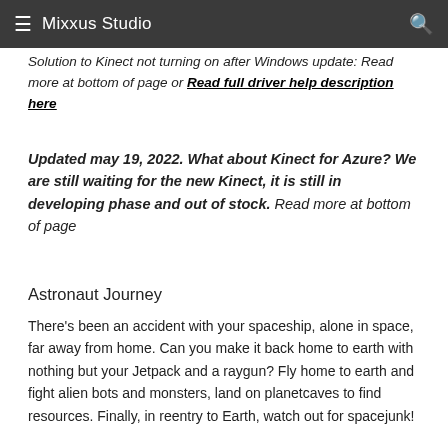≡  Mixxus Studio  🔍
suitable in physical therapy. Solution to Kinect not turning on after Windows update: Read more at bottom of page or Read full driver help description here
Updated may 19, 2022. What about Kinect for Azure? We are still waiting for the new Kinect, it is still in developing phase and out of stock. Read more at bottom of page
Astronaut Journey
There's been an accident with your spaceship, alone in space, far away from home. Can you make it back home to earth with nothing but your Jetpack and a raygun? Fly home to earth and fight alien bots and monsters, land on planetcaves to find resources. Finally, in reentry to Earth, watch out for spacejunk!